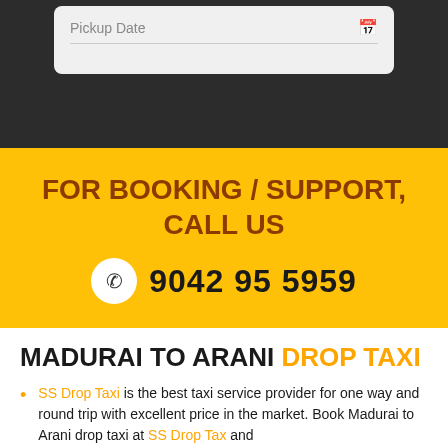[Figure (screenshot): Pickup Date form field with calendar icon on a gray background card]
FOR BOOKING / SUPPORT, CALL US
9042 95 5959
MADURAI TO ARANI DROP TAXI
SS Drop Taxi is the best taxi service provider for one way and round trip with excellent price in the market. Book Madurai to Arani drop taxi at SS Drop Taxi and